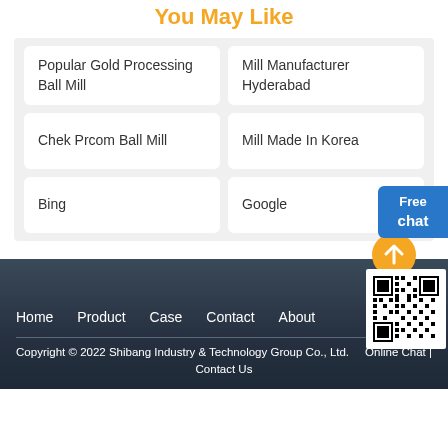You May Like
Popular Gold Processing Ball Mill
Mill Manufacturer Hyderabad
Chek Prcom Ball Mill
Mill Made In Korea
Bing
Google
Home   Product   Case   Contact   About
Copyright © 2022 Shibang Industry & Technology Group Co., Ltd.   Online Chat | Contact Us